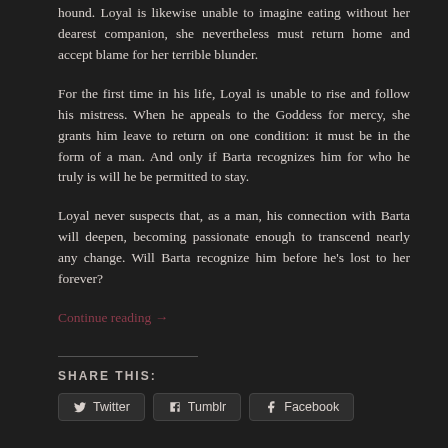hound. Loyal is likewise unable to imagine eating without her dearest companion, she nevertheless must return home and accept blame for her terrible blunder.
For the first time in his life, Loyal is unable to rise and follow his mistress. When he appeals to the Goddess for mercy, she grants him leave to return on one condition: it must be in the form of a man. And only if Barta recognizes him for who he truly is will he be permitted to stay.
Loyal never suspects that, as a man, his connection with Barta will deepen, becoming passionate enough to transcend nearly any change. Will Barta recognize him before he's lost to her forever?
Continue reading →
SHARE THIS:
Twitter   Tumblr   Facebook